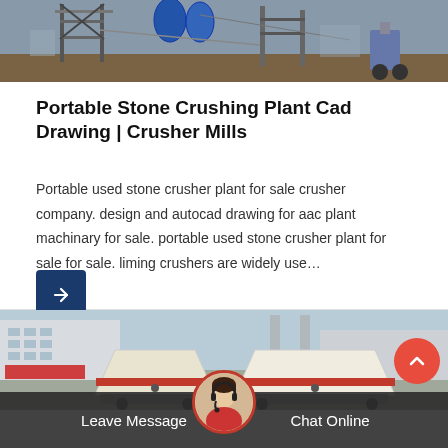[Figure (photo): Outdoor industrial site with steel scaffolding, blue barrels, and construction equipment]
Portable Stone Crushing Plant Cad Drawing | Crusher Mills
Portable used stone crusher plant for sale crusher company. design and autocad drawing for aac plant machinary for sale. portable used stone crusher plant for sale for sale. liming crushers are widely use…
[Figure (photo): Two large white cone crusher machines with red bands, parked outside an industrial building with Chinese signage]
Leave Message
Chat Online